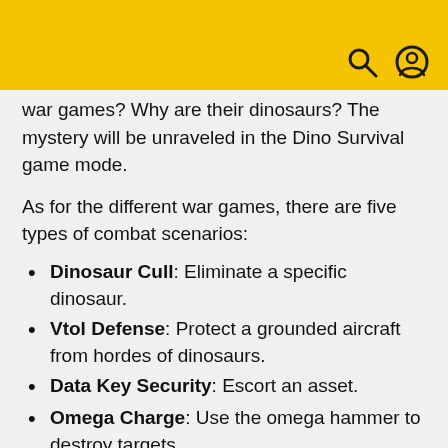[search icon] [user icon]
war games? Why are their dinosaurs? The mystery will be unraveled in the Dino Survival game mode.
As for the different war games, there are five types of combat scenarios:
Dinosaur Cull: Eliminate a specific dinosaur.
Vtol Defense: Protect a grounded aircraft from hordes of dinosaurs.
Data Key Security: Escort an asset.
Omega Charge: Use the omega hammer to destroy targets.
Energy Taker: Teams compete to collect the most energy.
New Exosuits